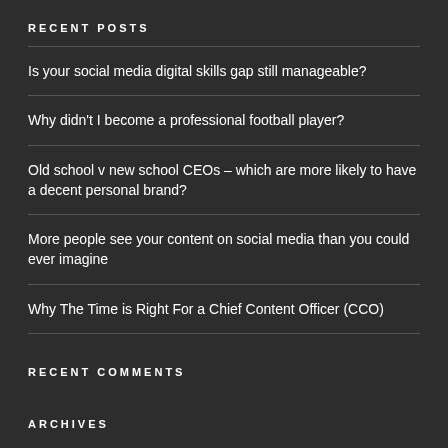RECENT POSTS
Is your social media digital skills gap still manageable?
Why didn't I become a professional football player?
Old school v new school CEOs – which are more likely to have a decent personal brand?
More people see your content on social media than you could ever imagine
Why The Time is Right For a Chief Content Officer (CCO)
RECENT COMMENTS
ARCHIVES